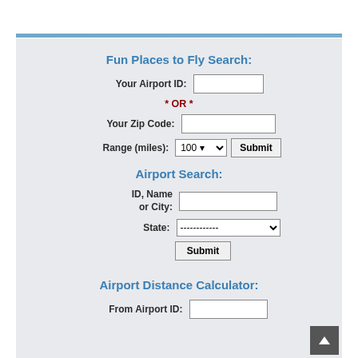Fun Places to Fly Search:
Your Airport ID:
* OR *
Your Zip Code:
Range (miles): 100  Submit
Airport Search:
ID, Name or City:
State: ------------  Submit
Airport Distance Calculator:
From Airport ID: